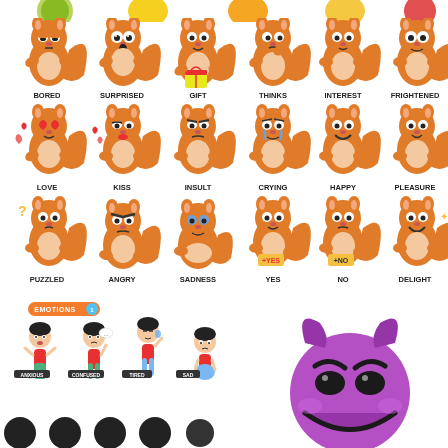[Figure (illustration): Grid of cartoon squirrel characters with emotion labels: BORED, SURPRISED, GIFT, THINKS, INTEREST, FRIGHTENED, LOVE, KISS, INSULT, CRYING, HAPPY, PLEASURE, PUZZLED, ANGRY, SADNESS, YES, NO, DELIGHT]
[Figure (illustration): Bottom left: 'EMOTIONS 1' badge with cartoon boy characters labeled ANXIOUS, CONFUSED, TIRED, SAD. Bottom right: large purple devil emoji face.]